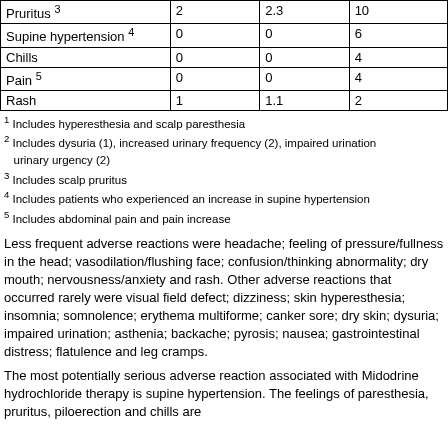|  |  |  |  |
| --- | --- | --- | --- |
| Pruritus 3 | 2 | 2.3 | 10 |
| Supine hypertension 4 | 0 | 0 | 6 |
| Chills | 0 | 0 | 4 |
| Pain 5 | 0 | 0 | 4 |
| Rash | 1 | 1.1 | 2 |
1 Includes hyperesthesia and scalp paresthesia
2 Includes dysuria (1), increased urinary frequency (2), impaired urination urinary urgency (2)
3 Includes scalp pruritus
4 Includes patients who experienced an increase in supine hypertension
5 Includes abdominal pain and pain increase
Less frequent adverse reactions were headache; feeling of pressure/fullness in the head; vasodilation/flushing face; confusion/thinking abnormality; dry mouth; nervousness/anxiety and rash. Other adverse reactions that occurred rarely were visual field defect; dizziness; skin hyperesthesia; insomnia; somnolence; erythema multiforme; canker sore; dry skin; dysuria; impaired urination; asthenia; backache; pyrosis; nausea; gastrointestinal distress; flatulence and leg cramps.
The most potentially serious adverse reaction associated with Midodrine hydrochloride therapy is supine hypertension. The feelings of paresthesia, pruritus, piloerection and chills are